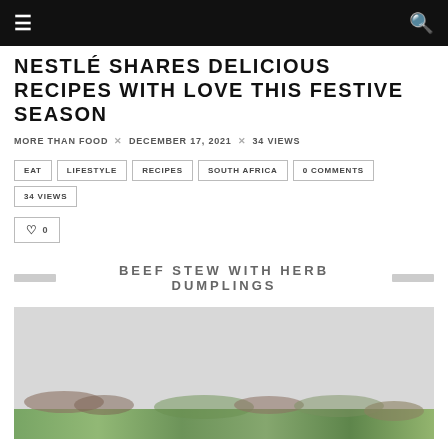≡  🔍
NESTLÉ SHARES DELICIOUS RECIPES WITH LOVE THIS FESTIVE SEASON
MORE THAN FOOD × DECEMBER 17, 2021 × 34 VIEWS
EAT
LIFESTYLE
RECIPES
SOUTH AFRICA
0 COMMENTS
34 VIEWS
♡ 0
BEEF STEW WITH HERB DUMPLINGS
[Figure (photo): Partial view of a beef stew with herb dumplings dish, appearing at the bottom of the image area]